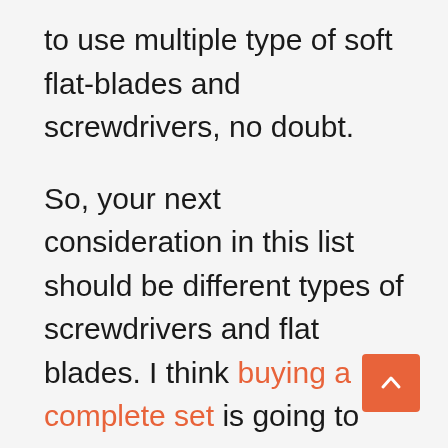to use multiple type of soft flat-blades and screwdrivers, no doubt.
So, your next consideration in this list should be different types of screwdrivers and flat blades. I think buying a complete set is going to work even better.
There is also screwdriver bit set available that makes the struggle easier. A pro technician probably considers thirty to forty screwdrivers